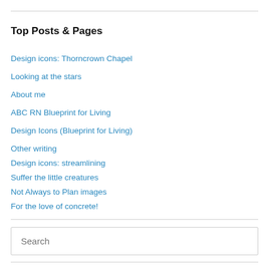Top Posts & Pages
Design icons: Thorncrown Chapel
Looking at the stars
About me
ABC RN Blueprint for Living
Design Icons (Blueprint for Living)
Other writing
Design icons: streamlining
Suffer the little creatures
Not Always to Plan images
For the love of concrete!
Search